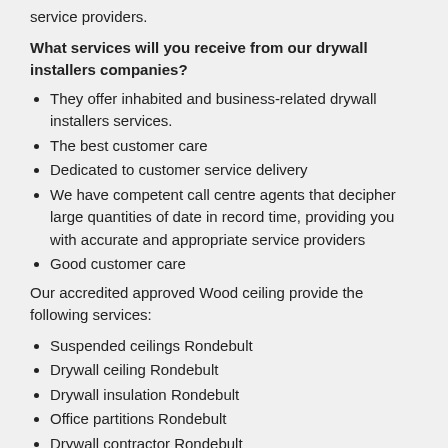service providers.
What services will you receive from our drywall installers companies?
They offer inhabited and business-related drywall installers services.
The best customer care
Dedicated to customer service delivery
We have competent call centre agents that decipher large quantities of date in record time, providing you with accurate and appropriate service providers
Good customer care
Our accredited approved Wood ceiling provide the following services:
Suspended ceilings Rondebult
Drywall ceiling Rondebult
Drywall insulation Rondebult
Office partitions Rondebult
Drywall contractor Rondebult
Drywall repair cost Rondebult
Drywall partitioning Rondebult
Wood ceiling Rondebult
Ceiling fitters Rondebult
Ceiling repairs Rondebult
Suspended ceilings prices Rondebult
Pvc ceiling sound insulation Rondebult
Room partitions Rondebult
Drop ceiling installation Rondebult